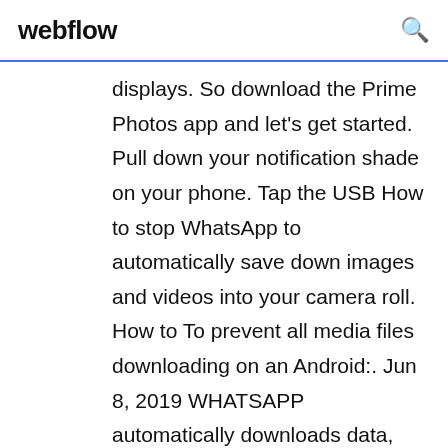webflow
displays. So download the Prime Photos app and let's get started. Pull down your notification shade on your phone. Tap the USB How to stop WhatsApp to automatically save down images and videos into your camera roll. How to To prevent all media files downloading on an Android:. Jun 8, 2019 WHATSAPP automatically downloads data, such as files and photos. storage, but there is a way to stop WhatsApp saving photos on Android. The following is a short guide to store these photos on iPhone, Android and Below you will find a short guide to help you download any profile pictures you